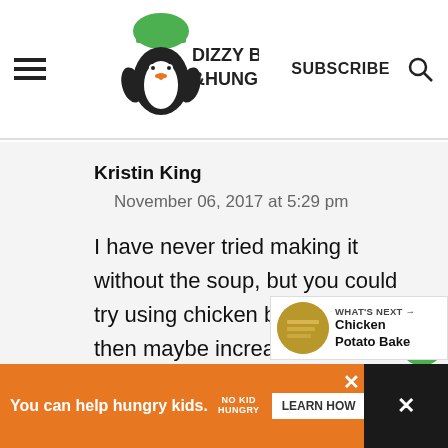[Figure (logo): Dizzy Busy & Hungry logo with penguin chef and green hat]
SUBSCRIBE
Kristin King
November 06, 2017 at 5:29 pm
I have never tried making it without the soup, but you could try using chicken broth and then maybe increase the cheese a bit. But I have n... done that myself, so no
WHAT'S NEXT → Chicken Potato Bake
You can help hungry kids.
LEARN HOW